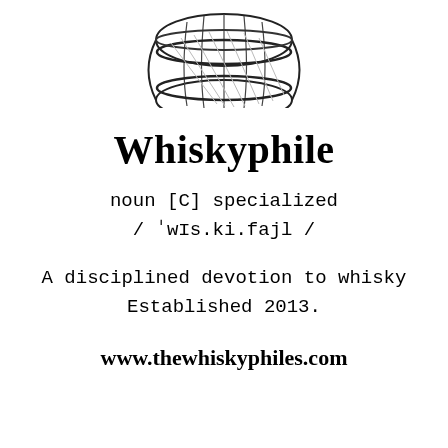[Figure (illustration): Line drawing illustration of a whisky barrel viewed from a slight angle, showing staves and hoops, partially cropped at the top of the page.]
Whiskyphile
noun [C] specialized
/ˈwɪs.ki.fajl /
A disciplined devotion to whisky
Established 2013.
www.thewhiskyphiles.com